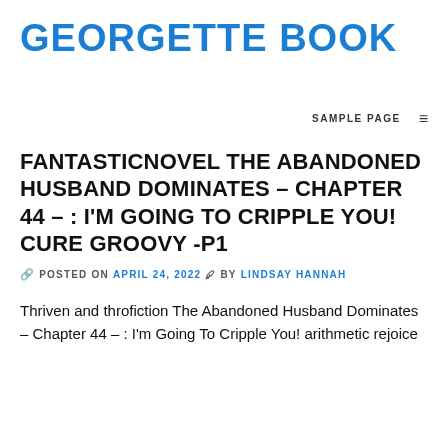GEORGETTE BOOK
SAMPLE PAGE ≡
FANTASTICNOVEL THE ABANDONED HUSBAND DOMINATES – CHAPTER 44 – : I'M GOING TO CRIPPLE YOU! CURE GROOVY -P1
🔗 POSTED ON APRIL 24, 2022 🖊 BY LINDSAY HANNAH
Thriven and throfiction The Abandoned Husband Dominates – Chapter 44 – : I'm Going To Cripple You! arithmetic rejoice